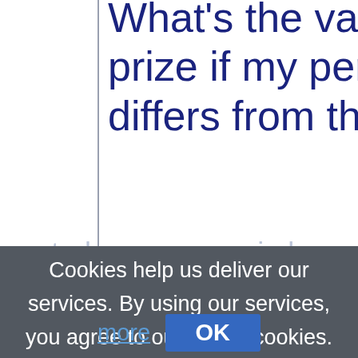What's the value? Am I g prize if my perception vas differs from the 90%? Or wasted. we never reimb
Cookies help us deliver our services. By using our services, you agree to our use of cookies. Learn more